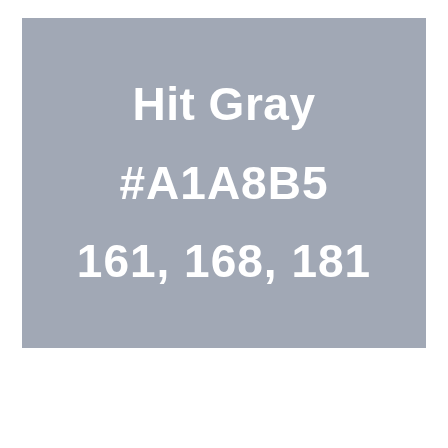[Figure (other): Color swatch showing Hit Gray color (#A1A8B5, RGB 161, 168, 181) as a large gray rectangle with white bold text displaying the color name, hex code, and RGB values.]